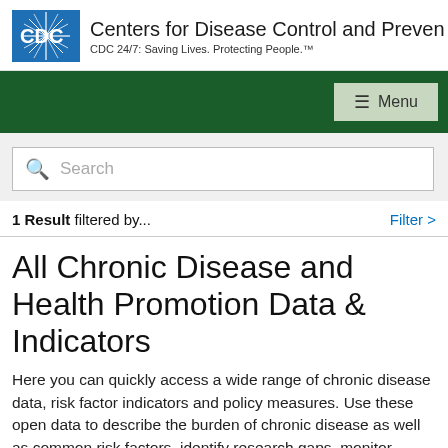Centers for Disease Control and Prevention
CDC 24/7: Saving Lives. Protecting People.™
[Figure (logo): CDC logo — blue square with white CDC text and radiating lines]
Menu
Search
1 Result filtered by...
Filter >
All Chronic Disease and Health Promotion Data & Indicators
Here you can quickly access a wide range of chronic disease data, risk factor indicators and policy measures. Use these open data to describe the burden of chronic disease as well as common risk factors, identify research gaps, monitor population trends, and evaluate programs. The drive to bring